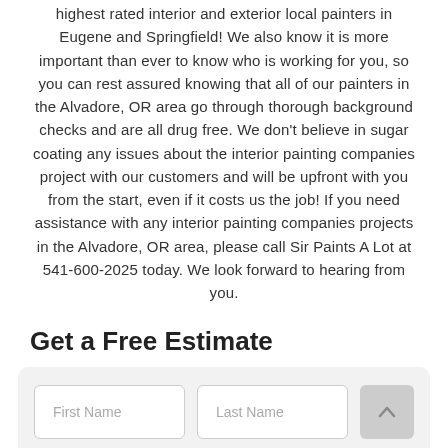highest rated interior and exterior local painters in Eugene and Springfield! We also know it is more important than ever to know who is working for you, so you can rest assured knowing that all of our painters in the Alvadore, OR area go through thorough background checks and are all drug free. We don't believe in sugar coating any issues about the interior painting companies project with our customers and will be upfront with you from the start, even if it costs us the job! If you need assistance with any interior painting companies projects in the Alvadore, OR area, please call Sir Paints A Lot at 541-600-2025 today. We look forward to hearing from you.
Get a Free Estimate
[Figure (other): A contact form with First Name and Last Name input fields in the first row (with a scroll-to-top button), and two more input fields partially visible in the second row, all inside a light gray rounded rectangle container.]